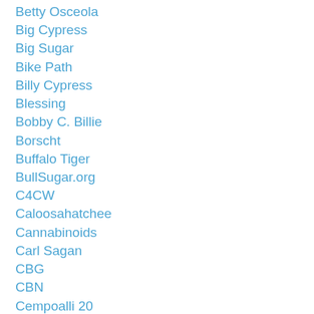Betty Osceola
Big Cypress
Big Sugar
Bike Path
Billy Cypress
Blessing
Bobby C. Billie
Borscht
Buffalo Tiger
BullSugar.org
C4CW
Caloosahatchee
Cannabinoids
Carl Sagan
CBG
CBN
Cempoalli 20
CEPP
Ceremony
CERP
Chela Sandoval